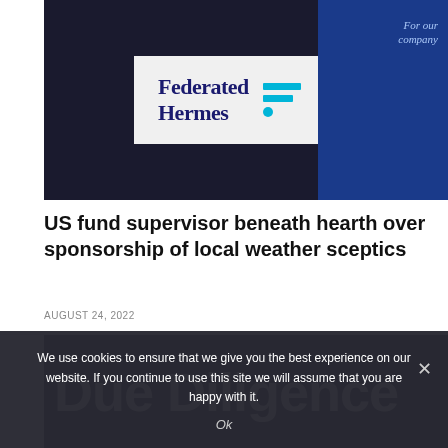[Figure (photo): Federated Hermes logo on a tablet screen against a dark background, with a blue company panel visible on the right]
US fund supervisor beneath hearth over sponsorship of local weather sceptics
AUGUST 24, 2022
[Figure (photo): Dark background image with large white bold text reading 'Due Diligence' partially visible]
We use cookies to ensure that we give you the best experience on our website. If you continue to use this site we will assume that you are happy with it.
Ok